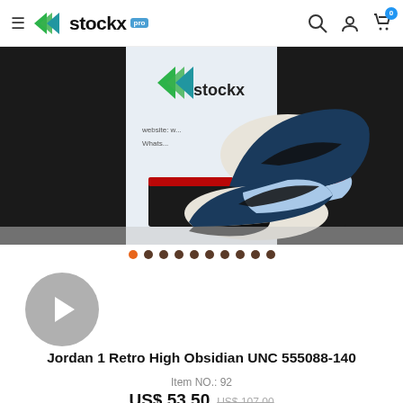stockx Pro
[Figure (photo): Jordan 1 Retro High Obsidian UNC sneakers displayed on and next to a shoebox in front of a StockX branded backdrop. Two shoes shown, one on the box and one on the floor.]
[Figure (photo): Video thumbnail placeholder with play button circle]
Jordan 1 Retro High Obsidian UNC 555088-140
Item NO.: 92
US$ 53.50 US$ 107.00